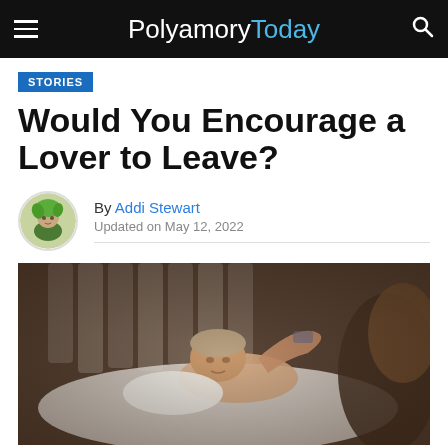PolyamoryToday
STORIES
Would You Encourage a Lover to Leave?
By Addi Stewart
Updated on May 12, 2022
[Figure (photo): Man lying in bed looking up, with a woman in the foreground out of focus, bedroom setting with padded headboard]